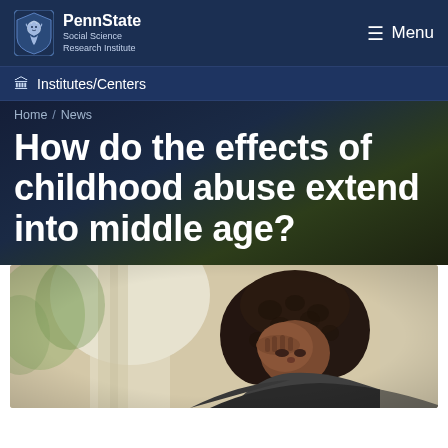PennState Social Science Research Institute | Menu
Institutes/Centers
Home / News
How do the effects of childhood abuse extend into middle age?
[Figure (photo): A woman with curly dark hair holding her hand to her forehead, appearing distressed, with a blurred outdoor background]